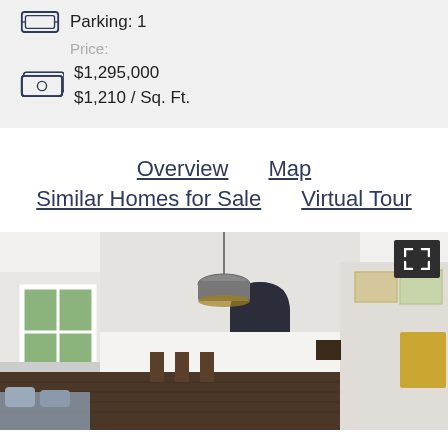Parking: 1
Price:
$1,295,000
$1,210 / Sq. Ft.
Overview
Map
Similar Homes for Sale
Virtual Tour
[Figure (photo): Interior photo of a living room with vaulted white ceiling, pendant lamp, arched doorway, framed art on walls, large windows with greenery outside, and open floor plan.]